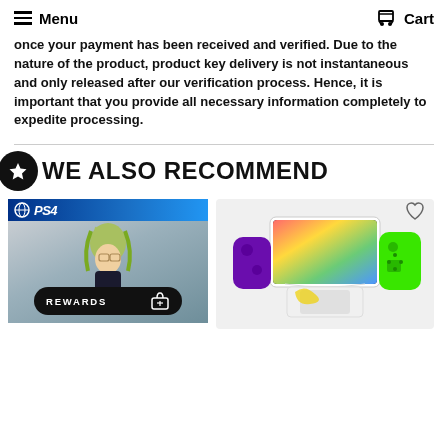Menu   Cart
once your payment has been received and verified. Due to the nature of the product, product key delivery is not instantaneous and only released after our verification process. Hence, it is important that you provide all necessary information completely to expedite processing.
WE ALSO RECOMMEND
[Figure (screenshot): PS4 game cover art showing an anime character with green hair and a REWARDS button overlay]
[Figure (photo): Nintendo Switch OLED console with Joy-Con controllers in purple and green, with a heart/wishlist icon]